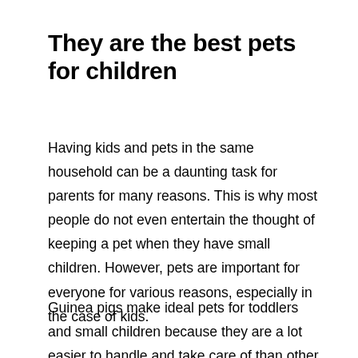They are the best pets for children
Having kids and pets in the same household can be a daunting task for parents for many reasons. This is why most people do not even entertain the thought of keeping a pet when they have small children. However, pets are important for everyone for various reasons, especially in the case of kids.
Guinea pigs make ideal pets for toddlers and small children because they are a lot easier to handle and take care of than other pets, such as